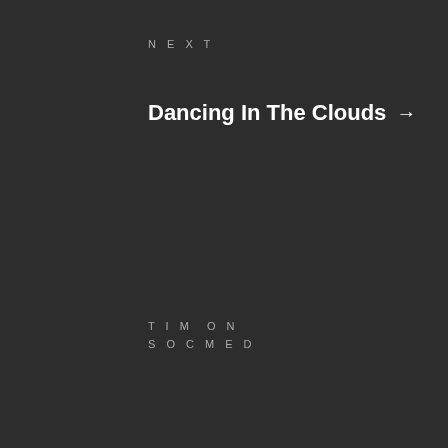NEXT
Dancing In The Clouds →
TIM ON
SOCMED
[Figure (illustration): Twitter social media button icon - blue pixelated 3D button with Twitter bird logo]
[Figure (illustration): Pinterest social media button icon - red pixelated 3D button with Pinterest P logo]
[Figure (illustration): YouTube social media button icon - red pixelated 3D button with YouTube logo]
[Figure (illustration): Facebook social media button icon - blue pixelated 3D button with Facebook f logo]
[Figure (illustration): RSS feed button icon - golden/yellow pixelated 3D button with RSS symbol]